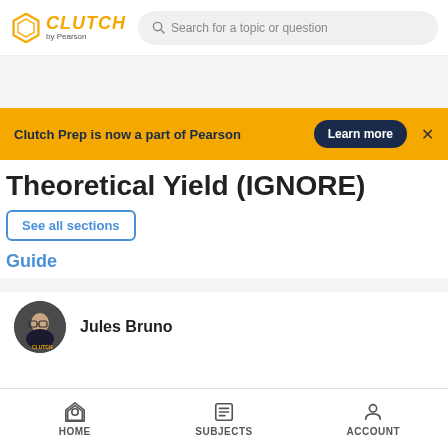CLUTCH by Pearson — Search for a topic or question
Clutch Prep is now a part of Pearson
Theoretical Yield (IGNORE)
See all sections
Guide
Jules Bruno
HOME   SUBJECTS   ACCOUNT